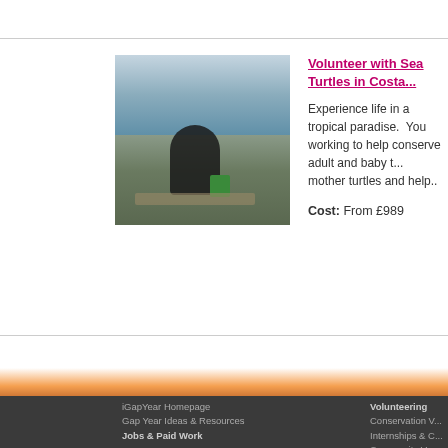[Figure (photo): Person crouching on a beach working with sea turtles, with water and forested coastline in background]
Volunteer with Sea Turtles in Costa...
Experience life in a tropical paradise.  You working to help conserve adult and baby t... mother turtles and help..
Cost: From £989
iGapYear Homepage
Gap Year Ideas & Resources
Jobs & Paid Work
Destinations
Africa
Asia
Australia and New Zealand
Europe
USA and Canada
South America
Gap Year Courses
Volunteering
Conservation V...
Internships & C...
Community Vo...
Caring & Medi...
Sports Volunte...
Gap Year Tou...
Adventure Spo...
Backpacker To...
Expeditions &...
Gap Year Tra...